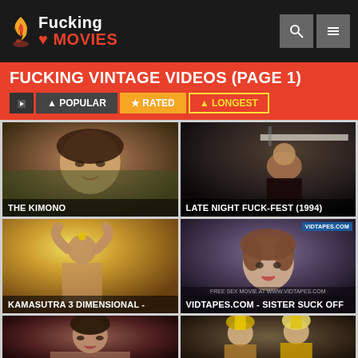Fucking MOVIES
FUCKING VINTAGE VIDEOS (PAGE 1)
POPULAR
RATED
LONGEST
[Figure (screenshot): Video thumbnail: The Kimono - close-up of Asian woman's face outdoors]
THE KIMONO
[Figure (screenshot): Video thumbnail: Late Night Fuck-Fest (1994) - woman crouching in dark room]
LATE NIGHT FUCK-FEST (1994)
[Figure (screenshot): Video thumbnail: Kamasutra 3 Dimensional - woman posing with warm light]
KAMASUTRA 3 DIMENSIONAL -
[Figure (screenshot): Video thumbnail: Vidtapes.com - Sister Suck Off - woman with short hair]
VIDTAPES.COM - SISTER SUCK OFF
[Figure (screenshot): Video thumbnail: fifth video - dark haired woman]
[Figure (screenshot): Video thumbnail: sixth video - costumed figures]